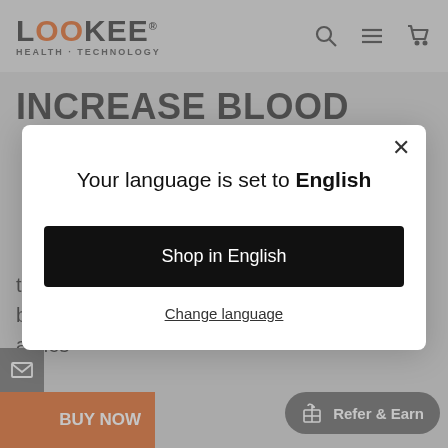LOOKEE HEALTH - TECHNOLOGY
INCREASE BLOOD
Your language is set to English
Shop in English
Change language
that causes pains & aches. Resulting in more blood circulation & fewer injuries + muscle aches
BUY NOW
Refer & Earn